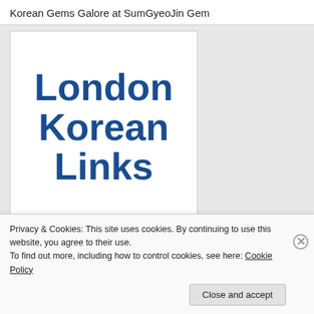Korean Gems Galore at SumGyeoJin Gem
[Figure (illustration): White background image with large bold dark blue text reading 'London Korean Links' arranged in three lines, with 'LKL' label to the right]
Privacy & Cookies: This site uses cookies. By continuing to use this website, you agree to their use.
To find out more, including how to control cookies, see here: Cookie Policy
Close and accept